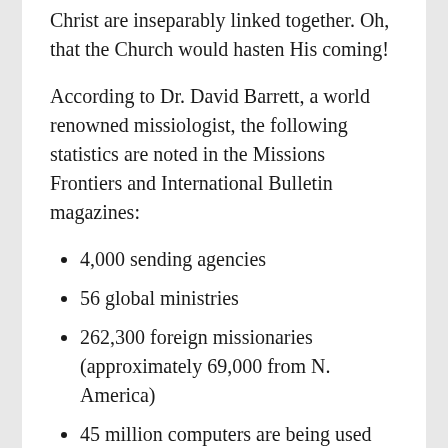Christ are inseparably linked together. Oh, that the Church would hasten His coming!
According to Dr. David Barrett, a world renowned missiologist, the following statistics are noted in the Missions Frontiers and International Bulletin magazines:
4,000 sending agencies
56 global ministries
262,300 foreign missionaries (approximately 69,000 from N. America)
45 million computers are being used for mission service with 56 global networks for mission exchange of information and targeting mission fields